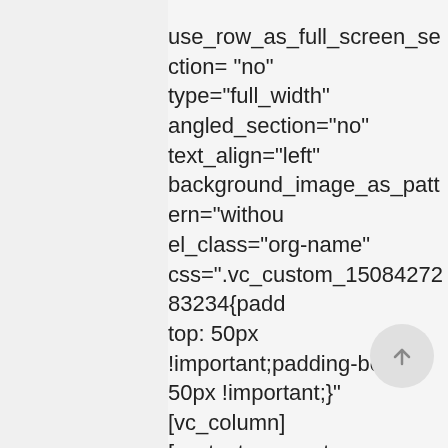use_row_as_full_screen_section="no" type="full_width" angled_section="no" text_align="left" background_image_as_pattern="without el_class="org-name" css=".vc_custom_1508427283234{padding-top: 50px !important;padding-bottom: 50px !important;}" [vc_column] [vc_text_separator title="Kentimataki" css_animation="top-to-bottom" border="yes" border_color="#e18256"